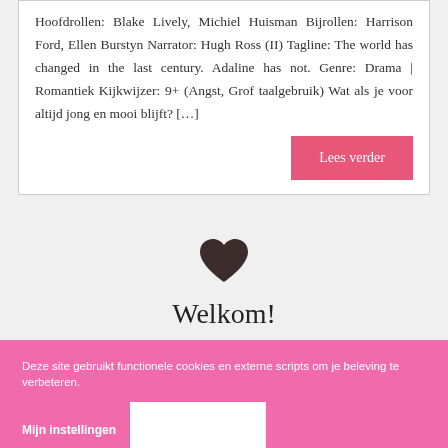Hoofdrollen: Blake Lively, Michiel Huisman Bijrollen: Harrison Ford, Ellen Burstyn Narrator: Hugh Ross (II) Tagline: The world has changed in the last century. Adaline has not. Genre: Drama | Romantiek Kijkwijzer: 9+ (Angst, Grof taalgebruik) Wat als je voor altijd jong en mooi blijft? […]
Lees verder
[Figure (illustration): Dark brown heart icon]
Welkom!
Deze site gebruikt functionele cookies en externe scripts om je beleving te verbeteren.
Mijn instellingen